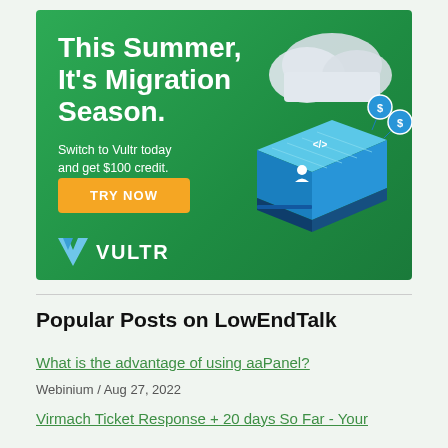[Figure (illustration): Vultr advertisement banner with green background. Headline: 'This Summer, It's Migration Season.' Subtext: 'Switch to Vultr today and get $100 credit.' Orange CTA button labeled 'TRY NOW'. Vultr logo at bottom left. Cloud and server isometric illustration on the right.]
Popular Posts on LowEndTalk
What is the advantage of using aaPanel?
Webinium / Aug 27, 2022
Virmach Ticket Response + 20 days So Far - Your experience?